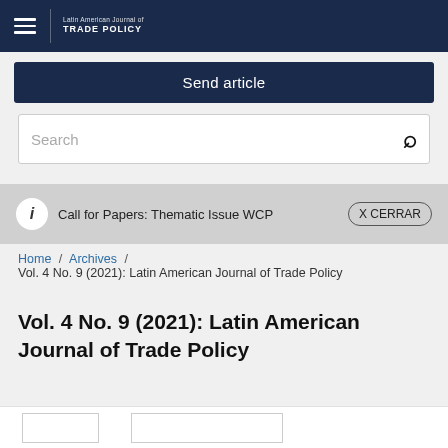Latin American Journal of TRADE POLICY
Send article
Search
i  Call for Papers: Thematic Issue WCP  X CERRAR
Home / Archives / Vol. 4 No. 9 (2021): Latin American Journal of Trade Policy
Vol. 4 No. 9 (2021): Latin American Journal of Trade Policy